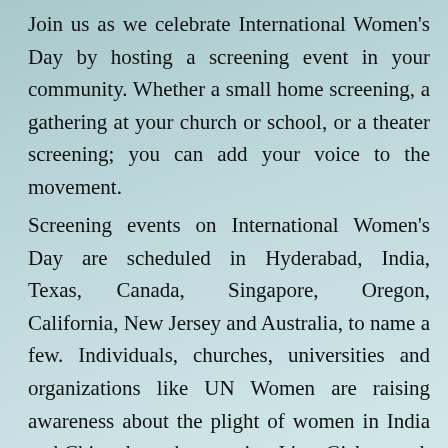Join us as we celebrate International Women's Day by hosting a screening event in your community. Whether a small home screening, a gathering at your church or school, or a theater screening; you can add your voice to the movement.
Screening events on International Women's Day are scheduled in Hyderabad, India, Texas, Canada, Singapore, Oregon, California, New Jersey and Australia, to name a few. Individuals, churches, universities and organizations like UN Women are raising awareness about the plight of women in India and China through screening It's a Girl to mark this international celebration of women.